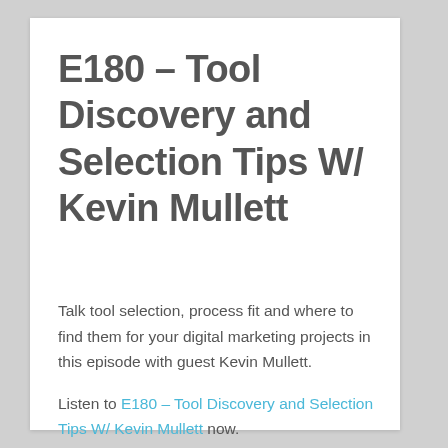E180 – Tool Discovery and Selection Tips W/ Kevin Mullett
Talk tool selection, process fit and where to find them for your digital marketing projects in this episode with guest Kevin Mullett.
Listen to E180 – Tool Discovery and Selection Tips W/ Kevin Mullett now.